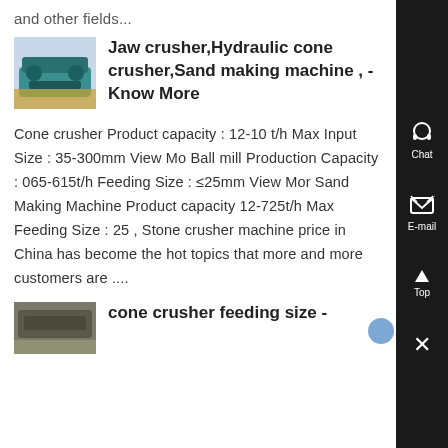and other fields...
[Figure (photo): Industrial jaw crusher / ball mill machine, teal/green colored, on yellow frame]
Jaw crusher,Hydraulic cone crusher,Sand making machine , - Know More
Cone crusher Product capacity : 12-10 t/h Max Input Size : 35-300mm View Mo Ball mill Production Capacity : 065-615t/h Feeding Size : ≤25mm View Mor Sand Making Machine Product capacity 12-725t/h Max Feeding Size : 25 , Stone crusher machine price in China has become the hot topics that more and more customers are ....
[Figure (photo): Industrial crusher machine thumbnail]
cone crusher feeding size -